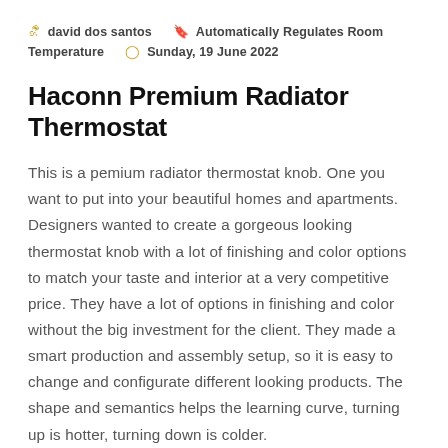david dos santos   Automatically Regulates Room Temperature   Sunday, 19 June 2022
Haconn Premium Radiator Thermostat
This is a pemium radiator thermostat knob. One you want to put into your beautiful homes and apartments. Designers wanted to create a gorgeous looking thermostat knob with a lot of finishing and color options to match your taste and interior at a very competitive price. They have a lot of options in finishing and color without the big investment for the client. They made a smart production and assembly setup, so it is easy to change and configurate different looking products. The shape and semantics helps the learning curve, turning up is hotter, turning down is colder.